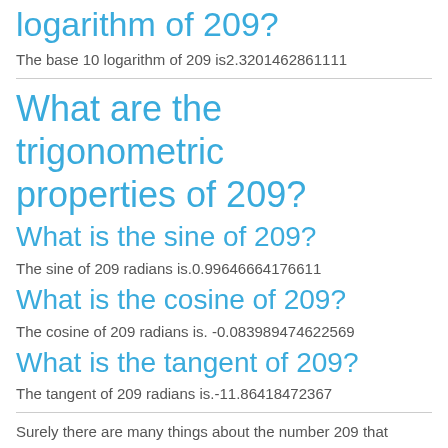logarithm of 209?
The base 10 logarithm of 209 is2.3201462861111
What are the trigonometric properties of 209?
What is the sine of 209?
The sine of 209 radians is.0.99646664176611
What is the cosine of 209?
The cosine of 209 radians is. -0.083989474622569
What is the tangent of 209?
The tangent of 209 radians is.-11.86418472367
Surely there are many things about the number 209 that